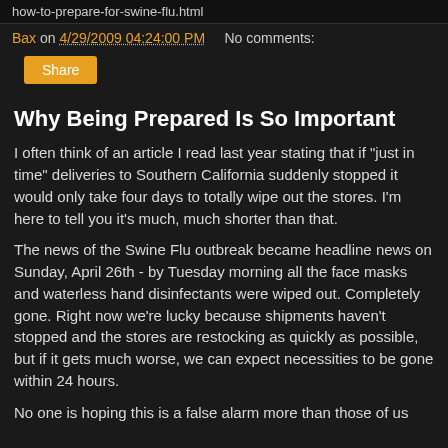how-to-prepare-for-swine-flu.html
Bax on 4/29/2009 04:24:00 PM   No comments:
Share
Why Being Prepared Is So Important
I often think of an article I read last year stating that if "just in time" deliveries to Southern California suddenly stopped it would only take four days to totally wipe out the stores. I'm here to tell you it's much, much shorter than that.
The news of the Swine Flu outbreak became headline news on Sunday, April 26th - by Tuesday morning all the face masks and waterless hand disinfectants were wiped out. Completely gone. Right now we're lucky because shipments haven't stopped and the stores are restocking as quickly as possible, but if it gets much worse, we can expect necessities to be gone within 24 hours.
No one is hoping this is a false alarm more than those of us